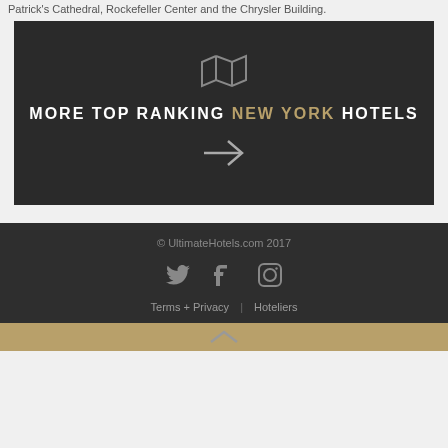Patrick's Cathedral, Rockefeller Center and the Chrysler Building.
[Figure (other): Dark banner with map icon, text MORE TOP RANKING NEW YORK HOTELS, and right arrow]
© UltimateHotels.com 2017 | Terms + Privacy | Hoteliers